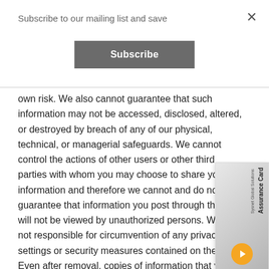×
Subscribe to our mailing list and save
Subscribe
own risk.  We also cannot guarantee that such information may not be accessed, disclosed, altered, or destroyed by breach of any of our physical, technical, or managerial safeguards.  We cannot control the actions of other users or other third parties with whom you may choose to share your information and therefore we cannot and do not guarantee that information you post through the Site will not be viewed by unauthorized persons.  We are not responsible for circumvention of any privacy settings or security measures contained on the Site.  Even after removal, copies of information that you have posted may remain viewable in cached and archived pages or if other users have copied or stored